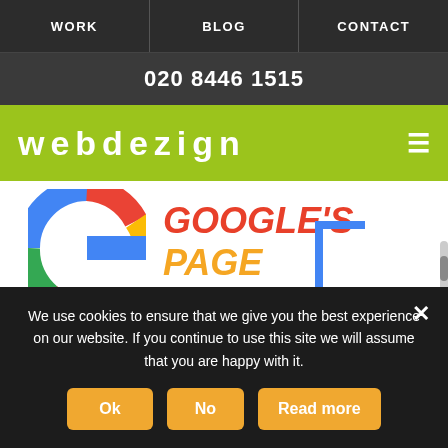WORK | BLOG | CONTACT
020 8446 1515
webdezign
[Figure (screenshot): Google Page Experience Update article header image showing Google G logo, orange text reading GOOGLE'S PAGE EXPERIENCE UPDATE, and a colorful arc/rainbow graphic on the right]
GOOGLE PAGE EXPERIENCE: NEW ALGORITHM
5 Nov 2021
We use cookies to ensure that we give you the best experience on our website. If you continue to use this site we will assume that you are happy with it.